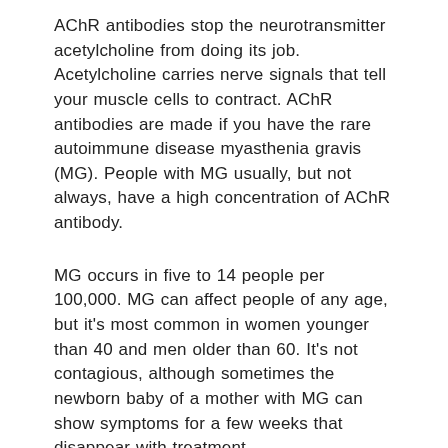AChR antibodies stop the neurotransmitter acetylcholine from doing its job. Acetylcholine carries nerve signals that tell your muscle cells to contract. AChR antibodies are made if you have the rare autoimmune disease myasthenia gravis (MG). People with MG usually, but not always, have a high concentration of AChR antibody.
MG occurs in five to 14 people per 100,000. MG can affect people of any age, but it's most common in women younger than 40 and men older than 60. It's not contagious, although sometimes the newborn baby of a mother with MG can show symptoms for a few weeks that disappear with treatment.